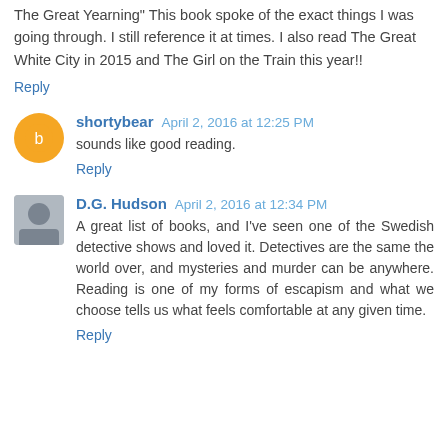The Great Yearning" This book spoke of the exact things I was going through. I still reference it at times. I also read The Great White City in 2015 and The Girl on the Train this year!!
Reply
shortybear  April 2, 2016 at 12:25 PM
sounds like good reading.
Reply
D.G. Hudson  April 2, 2016 at 12:34 PM
A great list of books, and I've seen one of the Swedish detective shows and loved it. Detectives are the same the world over, and mysteries and murder can be anywhere. Reading is one of my forms of escapism and what we choose tells us what feels comfortable at any given time.
Reply